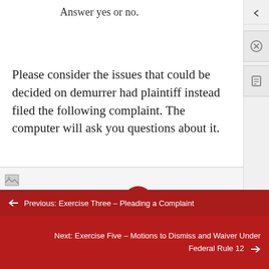Answer yes or no.
Please consider the issues that could be decided on demurrer had plaintiff instead filed the following complaint. The computer will ask you questions about it.
[Figure (other): Image placeholder/broken image icon in a light gray bar]
COMPLAINT TWO
Previous: Exercise Three – Pleading a Complaint
Next: Exercise Five – Motions to Dismiss and Waiver Under Federal Rule 12